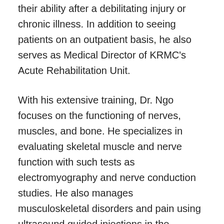their ability after a debilitating injury or chronic illness. In addition to seeing patients on an outpatient basis, he also serves as Medical Director of KRMC's Acute Rehabilitation Unit.
With his extensive training, Dr. Ngo focuses on the functioning of nerves, muscles, and bone. He specializes in evaluating skeletal muscle and nerve function with such tests as electromyography and nerve conduction studies. He also manages musculoskeletal disorders and pain using ultrasound guided injections in the peripheral joints, medications, and physical therapy. With his broad medical expertise, he is able to address a range of disabling conditions, from carpal tunnel syndrome to spinal cord injuries.